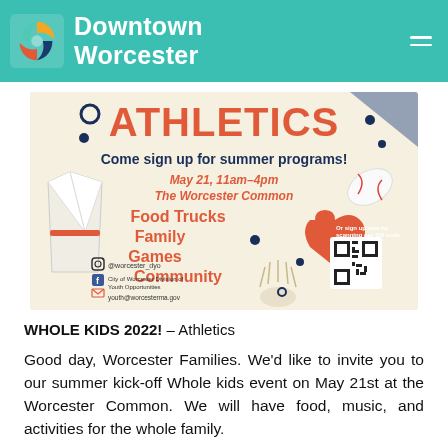Downtown Worcester
[Figure (illustration): Athletics flyer for Whole Kids 2022 summer program event on May 21, 11am-4pm at The Worcester Common. Features text: ATHLETICS, Come sign up for summer programs!, May 21, 11am-4pm, The Worcester Common, Food Trucks, Family, Games, Community. Includes QR code, social media handles @worcester_dyo, City of Worcester Division of Youth Opportunities, youth@worcesterma.gov. Decorative illustrations of karate gi, baseball, shuttlecock.]
WHOLE KIDS 2022! – Athletics
Good day, Worcester Families. We'd like to invite you to our summer kick-off Whole kids event on May 21st at the Worcester Common. We will have food, music, and activities for the whole family.